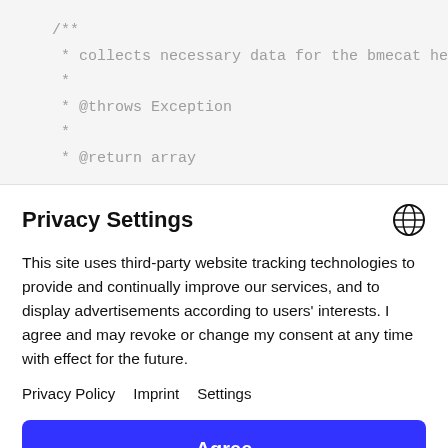/**
 * collects necessary data for the bmecat header
 *
 * @throws Exception
 *
 * * @return array
Privacy Settings
This site uses third-party website tracking technologies to provide and continually improve our services, and to display advertisements according to users' interests. I agree and may revoke or change my consent at any time with effect for the future.
Privacy Policy   Imprint   Settings
Agree
decline
Powered by Usercentrics Consent Management